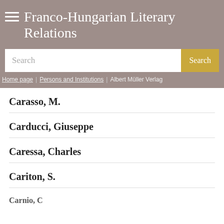Franco-Hungarian Literary Relations
Search
Home page > Persons and Institutions > Albert Müller Verlag
Carasso, M.
Carducci, Giuseppe
Caressa, Charles
Cariton, S.
Carnio, C...